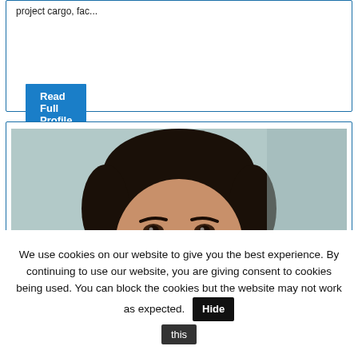project cargo, fac...
Read Full Profile
[Figure (photo): Headshot of a man in a dark suit and white shirt against a light teal background, facing forward slightly to the right.]
We use cookies on our website to give you the best experience. By continuing to use our website, you are giving consent to cookies being used. You can block the cookies but the website may not work as expected. Hide this